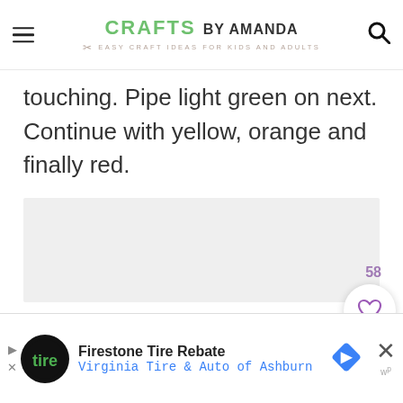CRAFTS BY AMANDA — EASY CRAFT IDEAS FOR KIDS AND ADULTS
touching. Pipe light green on next. Continue with yellow, orange and finally red.
[Figure (photo): Light grey placeholder image area]
58
[Figure (other): Heart (like) button — white circle with purple heart icon, count 58 above]
[Figure (other): Search button — purple circle with white magnifying glass icon]
Firestone Tire Rebate
Virginia Tire & Auto of Ashburn